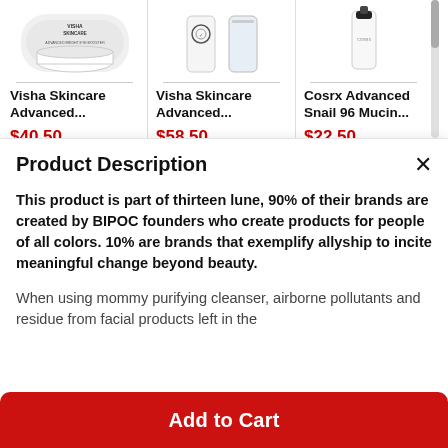[Figure (screenshot): Product listing row showing three skincare products: Visha Skincare Advanced..., Visha Skincare Advanced..., Cosrx Advanced Snail 96 Mucin... with prices $40.50, $58.50, $22.50 each with 'with code' discount label]
Product Description
This product is part of thirteen lune, 90% of their brands are created by BIPOC founders who create products for people of all colors. 10% are brands that exemplify allyship to incite meaningful change beyond beauty.
When using mommy purifying cleanser, airborne pollutants and residue from facial products left in the